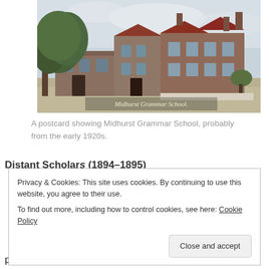[Figure (photo): A vintage colorized postcard photograph of Midhurst Grammar School, showing a large multi-story stone building with red-tiled roofs and chimneys, a large tree on the left, and a road in the foreground. Caption text on the photo reads 'Midhurst Grammar School'.]
A postcard showing Midhurst Grammar School, probably from the early 1920s.
Privacy & Cookies: This site uses cookies. By continuing to use this website, you agree to their use. To find out more, including how to control cookies, see here: Cookie Policy
probably most remembered for his support of the Anti